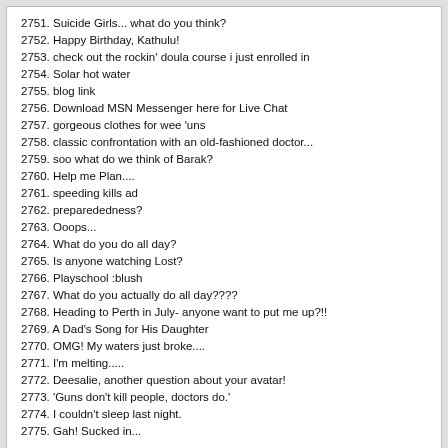2751. Suicide Girls... what do you think?
2752. Happy Birthday, Kathulu!
2753. check out the rockin' doula course i just enrolled in
2754. Solar hot water
2755. blog link
2756. Download MSN Messenger here for Live Chat
2757. gorgeous clothes for wee 'uns
2758. classic confrontation with an old-fashioned doctor...
2759. soo what do we think of Barak?
2760. Help me Plan....
2761. speeding kills ad
2762. preparededness?
2763. Ooops...
2764. What do you do all day?
2765. Is anyone watching Lost?
2766. Playschool :blush
2767. What do you actually do all day????
2768. Heading to Perth in July- anyone want to put me up?!!
2769. A Dad's Song for His Daughter
2770. OMG! My waters just broke....
2771. I'm melting.....
2772. Deesalie, another question about your avatar!
2773. 'Guns don't kill people, doctors do.'
2774. I couldn't sleep last night.
2775. Gah! Sucked in...
Powered by vBulletin® Version 4.2.0 Copyright © 2022 vBulletin Solutions, Inc. All rights reserved.